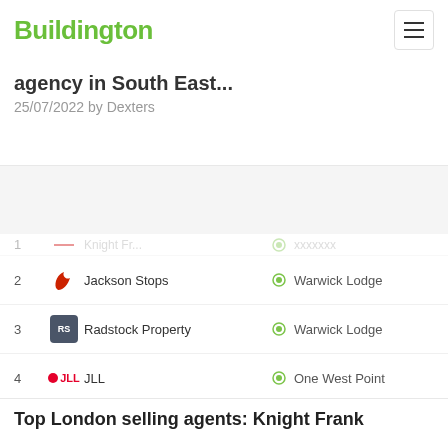Buildington
agency in South East...
25/07/2022 by Dexters
| # | Logo | Agency |  | Property |
| --- | --- | --- | --- | --- |
| 2 |  | Jackson Stops |  | Warwick Lodge |
| 3 |  | Radstock Property |  | Warwick Lodge |
| 4 |  | JLL |  | One West Point |
| 5 |  | Fraser & Co |  | One West Point |
| 6 |  | Savills |  | No. 1 Grosvenor Square |
| 7 |  | Kingsbury Stone |  | WEM Tower London |
Top London selling agents: Knight Frank